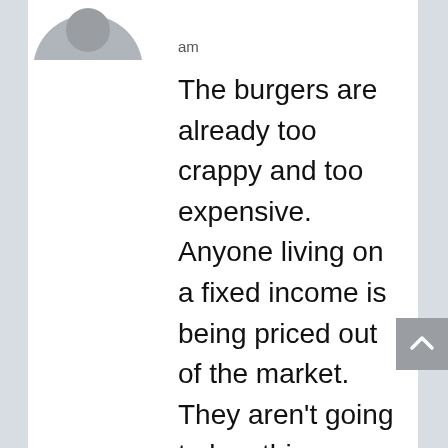[Figure (illustration): Gray circular avatar/profile picture, cropped at top, showing top half of a silhouette]
am
The burgers are already too crappy and too expensive. Anyone living on a fixed income is being priced out of the market. They aren't going to buy this malarkey. And now they're pushing veggie burgers. If you want to eat a carrot or a head of lettuce, all it cost a lot